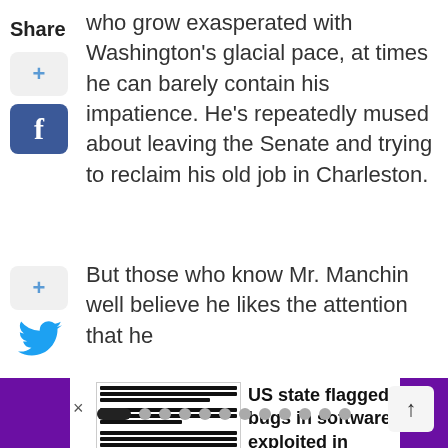Share
who grow exasperated with Washington's glacial pace, at times he can barely contain his impatience. He's repeatedly mused about leaving the Senate and trying to reclaim his old job in Charleston.
But those who know Mr. Manchin well believe he likes the attention that he
[Figure (screenshot): Carousel promo card showing a redacted document thumbnail and headline: US state flagged bugs in software exploited in alleged China hack, with purple left and right navigation arrows]
Pagination dots and scroll-up button